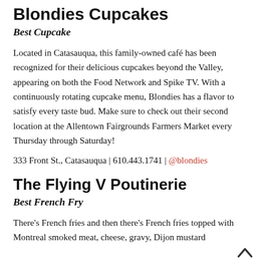Blondies Cupcakes
Best Cupcake
Located in Catasauqua, this family-owned café has been recognized for their delicious cupcakes beyond the Valley, appearing on both the Food Network and Spike TV. With a continuously rotating cupcake menu, Blondies has a flavor to satisfy every taste bud. Make sure to check out their second location at the Allentown Fairgrounds Farmers Market every Thursday through Saturday!
333 Front St., Catasauqua | 610.443.1741 | @blondies
The Flying V Poutinerie
Best French Fry
There's French fries and then there's French fries topped with Montreal smoked meat, cheese, gravy, Dijon mustard